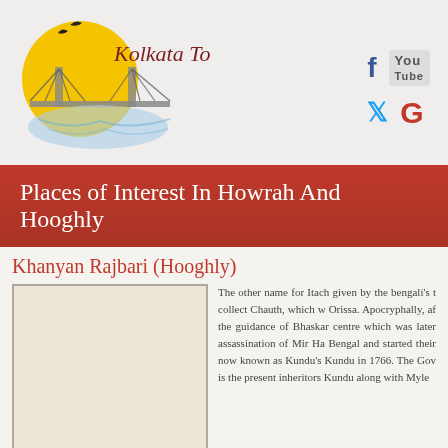[Figure (logo): Kolkata Tours logo with Howrah Bridge illustration and yellow sun with bird silhouettes]
Kolkata Tours
[Figure (infographic): Social media icons: Facebook (f), YouTube, Twitter (bird), Google (G)]
Places of Interest In Howrah And Hooghly
Khanyan Rajbari (Hooghly)
[Figure (photo): Photo placeholder for Khanyan Rajbari]
The other name for Itach given by the bengali's t collect Chauth, which w Orissa. Apocryphally, af the guidance of Bhaskar centre which was later assassination of Mir Ha Bengal and started their now known as Kundu's Kundu in 1766. The Gov is the present inheritors Kundu along with Myle
maintain the royal heritage through regular upkeep. The Heritage Homesta